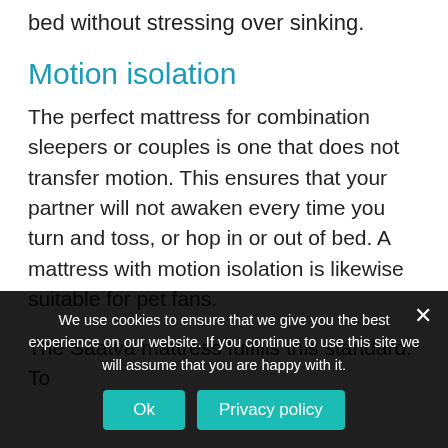bed without stressing over sinking.
Motion isolation
The perfect mattress for combination sleepers or couples is one that does not transfer motion. This ensures that your partner will not awaken every time you turn and toss, or hop in or out of bed. A mattress with motion isolation is likewise suitable for pet fans.
The Saatva mattress fulfills this standard. To
We use cookies to ensure that we give you the best experience on our website. If you continue to use this site we will assume that you are happy with it.
Ok
Privacy policy